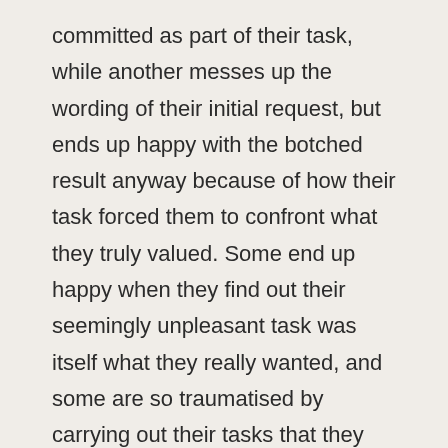committed as part of their task, while another messes up the wording of their initial request, but ends up happy with the botched result anyway because of how their task forced them to confront what they truly valued. Some end up happy when they find out their seemingly unpleasant task was itself what they really wanted, and some are so traumatised by carrying out their tasks that they learn to appreciate what they already have. Not every client gets a happy ending, but every single one of them is changed forever in the attempt to find one.
More than anything, The Rest at the End, the d...